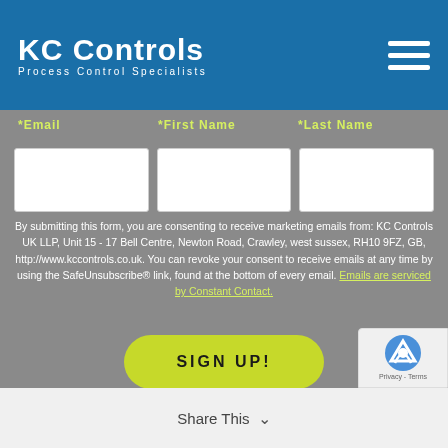KC Controls — Process Control Specialists
Email   First Name   Last Name
By submitting this form, you are consenting to receive marketing emails from: KC Controls UK LLP, Unit 15 - 17 Bell Centre, Newton Road, Crawley, west sussex, RH10 9FZ, GB, http://www.kccontrols.co.uk. You can revoke your consent to receive emails at any time by using the SafeUnsubscribe® link, found at the bottom of every email. Emails are serviced by Constant Contact.
SIGN UP!
Share This